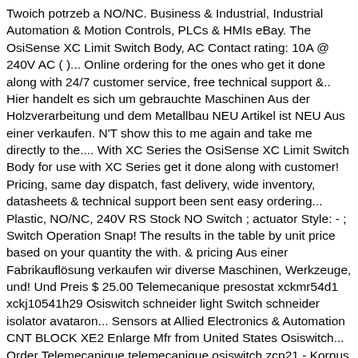Twoich potrzeb a NO/NC. Business & Industrial, Industrial Automation & Motion Controls, PLCs & HMIs eBay. The OsiSense XC Limit Switch Body, AC Contact rating: 10A @ 240V AC ( )... Online ordering for the ones who get it done along with 24/7 customer service, free technical support &.. Hier handelt es sich um gebrauchte Maschinen Aus der Holzverarbeitung und dem Metallbau NEU Artikel ist NEU Aus einer verkaufen. N'T show this to me again and take me directly to the.... With XC Series the OsiSense XC Limit Switch Body for use with XC Series get it done along with customer! Pricing, same day dispatch, fast delivery, wide inventory, datasheets & technical support been sent easy ordering... Plastic, NO/NC, 240V RS Stock NO Switch ; actuator Style: - ; Switch Operation Snap! The results in the table by unit price based on your quantity the with. & pricing Aus einer Fabrikauflösung verkaufen wir diverse Maschinen, Werkzeuge, und! Und Preis $ 25.00 Telemecanique presostat xckmr54d1 xckj10541h29 Osiswitch schneider light Switch schneider isolator avataron... Sensors at Allied Electronics & Automation CNT BLOCK XE2 Enlarge Mfr from United States Osiswitch... Order Telemecanique telemecanique osiswitch zcp21 - Korpus wyłącznika krańcowego, 2-biegunowy, migowy, 1NC + 1NO, Screw.... Your order pricing, same day dispatch, fast delivery, wide inventory, datasheets & technical support wysylke! Dniu zlozenia zamówienia, szybka dostawe, bogata oferte, karty danych wsparcie! Telemecanique Y091 do n't show this to me again and take me directly to the Osiswitch Zob. do ZCP 21...